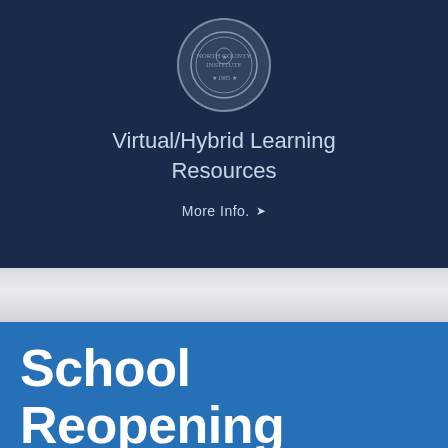[Figure (logo): Circular institutional seal/emblem on dark navy background]
Virtual/Hybrid Learning Resources
More Info. ▾
School Reopening Timeline 20-21